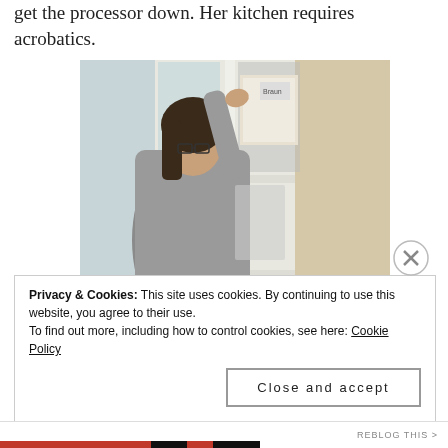get the processor down. Her kitchen requires acrobatics.
[Figure (photo): A woman wearing glasses and a grey hoodie reaches up into a white kitchen cabinet to retrieve a box, with kitchen items visible on the shelves.]
Privacy & Cookies: This site uses cookies. By continuing to use this website, you agree to their use.
To find out more, including how to control cookies, see here: Cookie Policy
Close and accept